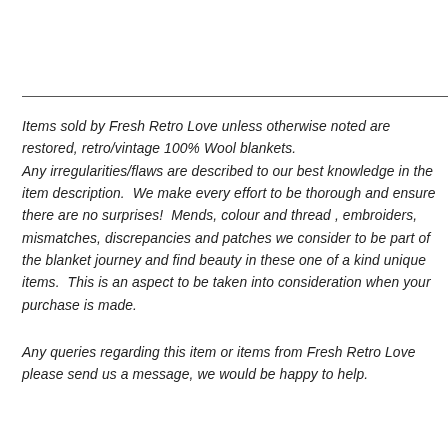Items sold by Fresh Retro Love unless otherwise noted are restored, retro/vintage 100% Wool blankets. Any irregularities/flaws are described to our best knowledge in the item description.  We make every effort to be thorough and ensure there are no surprises!  Mends, colour and thread , embroiders, mismatches, discrepancies and patches we consider to be part of the blanket journey and find beauty in these one of a kind unique items.  This is an aspect to be taken into consideration when your purchase is made.
Any queries regarding this item or items from Fresh Retro Love please send us a message, we would be happy to help.